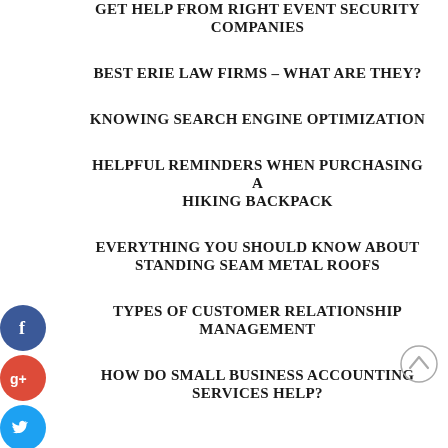GET HELP FROM RIGHT EVENT SECURITY COMPANIES
BEST ERIE LAW FIRMS – WHAT ARE THEY?
KNOWING SEARCH ENGINE OPTIMIZATION
HELPFUL REMINDERS WHEN PURCHASING A HIKING BACKPACK
[Figure (infographic): Social media sharing icons: Facebook (blue circle), Google+ (red circle), Twitter (blue circle), Plus/Add (dark circle)]
EVERYTHING YOU SHOULD KNOW ABOUT STANDING SEAM METAL ROOFS
TYPES OF CUSTOMER RELATIONSHIP MANAGEMENT
[Figure (other): Scroll-to-top circular button with upward arrow]
HOW DO SMALL BUSINESS ACCOUNTING SERVICES HELP?